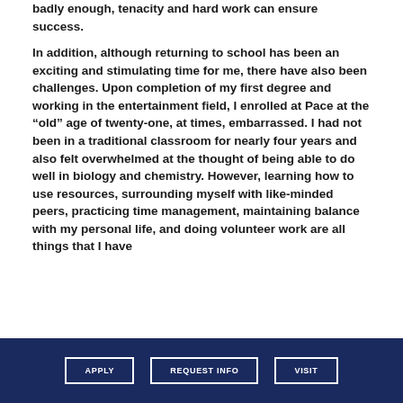badly enough, tenacity and hard work can ensure success.
In addition, although returning to school has been an exciting and stimulating time for me, there have also been challenges. Upon completion of my first degree and working in the entertainment field, I enrolled at Pace at the “old” age of twenty-one, at times, embarrassed. I had not been in a traditional classroom for nearly four years and also felt overwhelmed at the thought of being able to do well in biology and chemistry. However, learning how to use resources, surrounding myself with like-minded peers, practicing time management, maintaining balance with my personal life, and doing volunteer work are all things that I have
APPLY  REQUEST INFO  VISIT